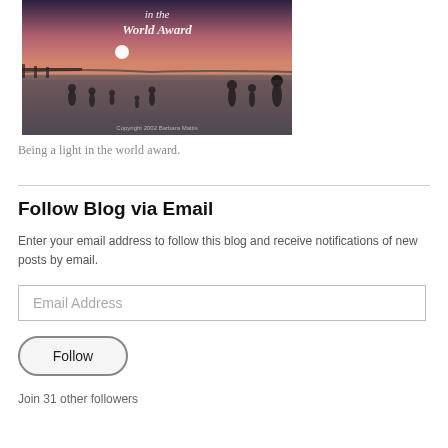[Figure (photo): Beach sunset photo with silhouettes of people wading in water, a pier visible on the left, a white sun near the horizon with pink-purple sky. Text overlay reads 'in the World Award'. Copyright 2002 Barbara Mattis watermark at bottom.]
Being a light in the world award.
Follow Blog via Email
Enter your email address to follow this blog and receive notifications of new posts by email.
Email Address
Follow
Join 31 other followers